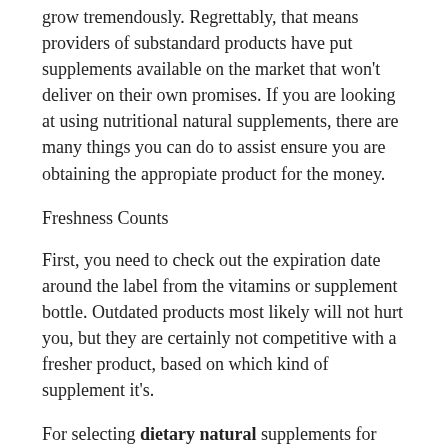grow tremendously. Regrettably, that means providers of substandard products have put supplements available on the market that won't deliver on their own promises. If you are looking at using nutritional natural supplements, there are many things you can do to assist ensure you are obtaining the appropiate product for the money.
Freshness Counts
First, you need to check out the expiration date around the label from the vitamins or supplement bottle. Outdated products most likely will not hurt you, but they are certainly not competitive with a fresher product, based on which kind of supplement it's.
For selecting dietary natural supplements for example omega-3 fatty acids capsules or omega-3 essential fatty acid supplements, you need to search for items that are certified to not have mercury inside them. Other substances that may affect how safe vitamins is and the way your body reacts into it include wheat, corn, and milk products within the filler ingredients. Allergic reactions to those are not